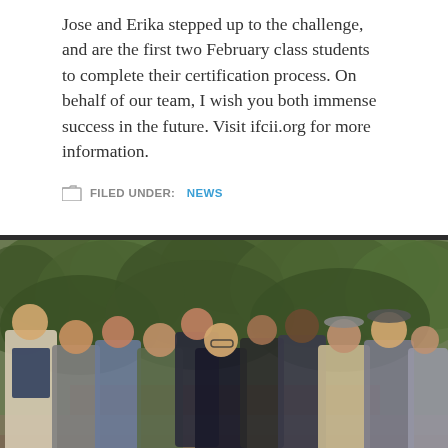Jose and Erika stepped up to the challenge, and are the first two February class students to complete their certification process. On behalf of our team, I wish you both immense success in the future. Visit ifcii.org for more information.
FILED UNDER: NEWS
[Figure (photo): Group photo of approximately 11 adults standing in front of green leafy bushes/hedges outdoors. The group includes men and women of various ages, dressed casually in jackets and sweaters. They are smiling and posed in two rows.]